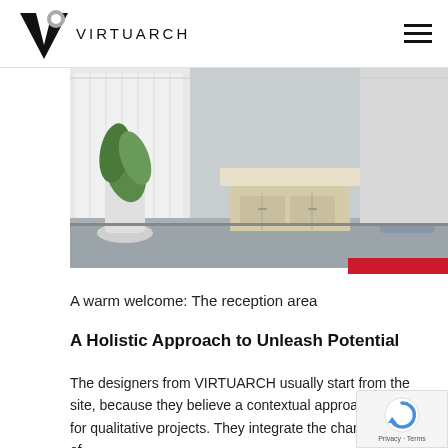VIRTUARCH
[Figure (photo): Interior photo of a modern office reception area with a white desk, plant, and grey flooring]
A warm welcome: The reception area
A Holistic Approach to Unleash Potential
The designers from VIRTUARCH usually start from the site, because they believe a contextual approach is key for qualitative projects. They integrate the characteristics of